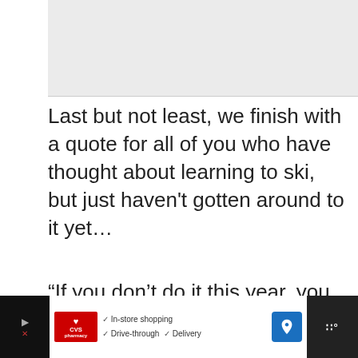[Figure (photo): Image placeholder at top of page]
Last but not least, we finish with a quote for all of you who have thought about learning to ski, but just haven't gotten around to it yet…
“If you don’t do it this year, you will be one year older when you do” – Warren Miller.
What’s your favourite skiing quote or saying?
[Figure (other): Advertisement bar at bottom: CVS pharmacy with In-store shopping, Drive-through, Delivery options]